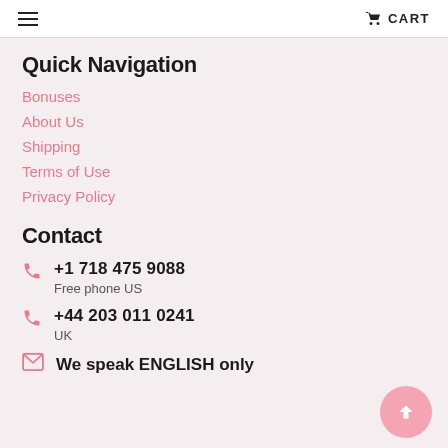≡  CART
Quick Navigation
Bonuses
About Us
Shipping
Terms of Use
Privacy Policy
Contact
+1 718 475 9088
Free phone US
+44 203 011 0241
UK
We speak ENGLISH only